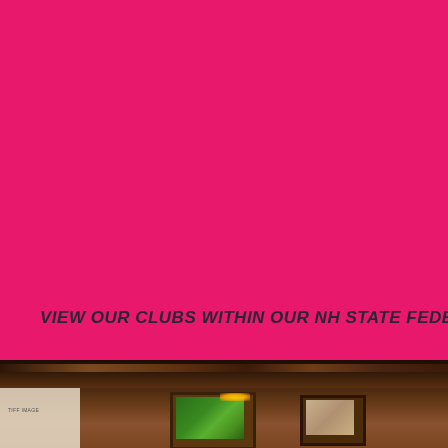[Figure (photo): Solid bright pink/magenta background filling the upper portion of the page]
VIEW OUR CLUBS WITHIN OUR NH STATE FEDERATION >
[Figure (photo): Photo of an interior room with dark wood ceiling beams, framed paintings on walls, warm lighting]